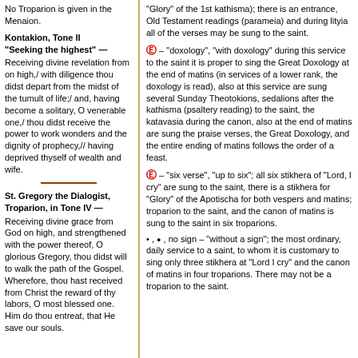No Troparion is given in the Menaion.
Kontakion, Tone II
"Seeking the highest" —
Receiving divine revelation from on high,/ with diligence thou didst depart from the midst of the tumult of life;/ and, having become a solitary, O venerable one,/ thou didst receive the power to work wonders and the dignity of prophecy,// having deprived thyself of wealth and wife.
St. Gregory the Dialogist, Troparion, in Tone IV —
Receiving divine grace from God on high, and strengthened with the power thereof, O glorious Gregory, thou didst will to walk the path of the Gospel. Wherefore, thou hast received from Christ the reward of thy labors, O most blessed one. Him do thou entreat, that He save our souls.
"Glory" of the 1st kathisma); there is an entrance, Old Testament readings (parameia) and during lityia all of the verses may be sung to the saint.
– "doxology", "with doxology" during this service to the saint it is proper to sing the Great Doxology at the end of matins (in services of a lower rank, the doxology is read), also at this service are sung several Sunday Theotokions, sedalions after the kathisma (psaltery reading) to the saint, the katavasia during the canon, also at the end of matins are sung the praise verses, the Great Doxology, and the entire ending of matins follows the order of a feast.
– "six verse", "up to six"; all six stikhera of "Lord, I cry" are sung to the saint, there is a stikhera for "Glory" of the Apotischa for both vespers and matins; troparion to the saint, and the canon of matins is sung to the saint in six troparions.
, • , no sign – "without a sign"; the most ordinary, daily service to a saint, to whom it is customary to sing only three stikhera at "Lord I cry" and the canon of matins in four troparions. There may not be a troparion to the saint.